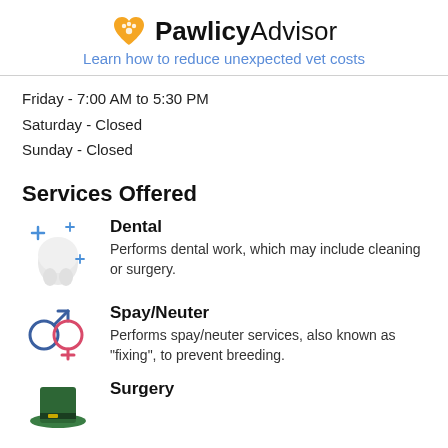PawlicyAdvisor — Learn how to reduce unexpected vet costs
Friday - 7:00 AM to 5:30 PM
Saturday - Closed
Sunday - Closed
Services Offered
[Figure (illustration): Tooth with sparkles icon for Dental service]
Dental
Performs dental work, which may include cleaning or surgery.
[Figure (illustration): Male and female symbols icon for Spay/Neuter service]
Spay/Neuter
Performs spay/neuter services, also known as “fixing”, to prevent breeding.
[Figure (illustration): Leprechaun hat icon for Surgery service]
Surgery